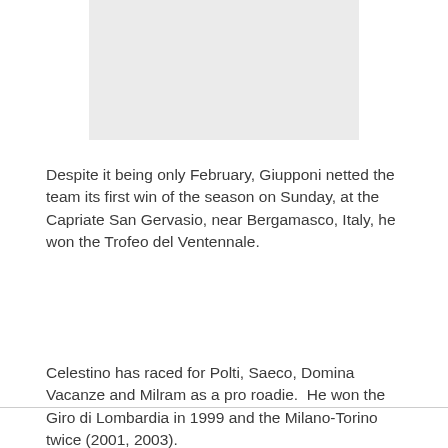[Figure (photo): Gray rectangular image placeholder at the top of the page]
Despite it being only February, Giupponi netted the team its first win of the season on Sunday, at the Capriate San Gervasio, near Bergamasco, Italy, he won the Trofeo del Ventennale.
Celestino has raced for Polti, Saeco, Domina Vacanze and Milram as a pro roadie.  He won the Giro di Lombardia in 1999 and the Milano-Torino twice (2001, 2003).